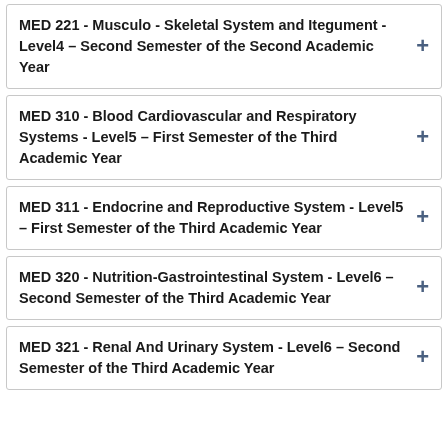MED 221 - Musculo - Skeletal System and Itegument - Level4 – Second Semester of the Second Academic Year
MED 310 - Blood Cardiovascular and Respiratory Systems - Level5 – First Semester of the Third Academic Year
MED 311 - Endocrine and Reproductive System - Level5 – First Semester of the Third Academic Year
MED 320 - Nutrition-Gastrointestinal System - Level6 – Second Semester of the Third Academic Year
MED 321 - Renal And Urinary System - Level6 – Second Semester of the Third Academic Year